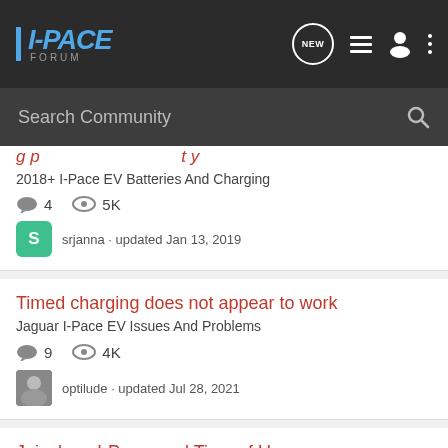I-PACE FORUM — Search Community
2018+ I-Pace EV Batteries And Charging | 4 replies | 5K views | srjanna · updated Jan 13, 2019
Timed charging does not appear to work
Jaguar I-Pace EV Issues And Problems | 9 replies | 4K views | optilude · updated Jul 28, 2021
Juicebox, I-Pace, and Time of Use
2018+ I-Pace EV Batteries And Charging